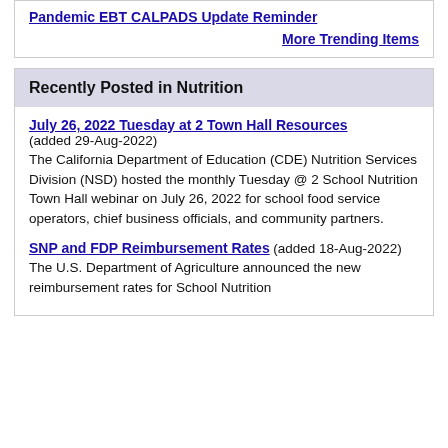Pandemic EBT CALPADS Update Reminder
More Trending Items
Recently Posted in Nutrition
July 26, 2022 Tuesday at 2 Town Hall Resources (added 29-Aug-2022) The California Department of Education (CDE) Nutrition Services Division (NSD) hosted the monthly Tuesday @ 2 School Nutrition Town Hall webinar on July 26, 2022 for school food service operators, chief business officials, and community partners.
SNP and FDP Reimbursement Rates (added 18-Aug-2022) The U.S. Department of Agriculture announced the new reimbursement rates for School Nutrition